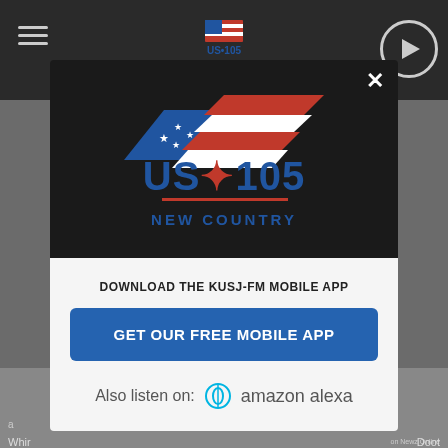[Figure (screenshot): US 105 New Country radio station website with modal app download popup. Background shows dark navigation bar with hamburger menu, US-105 logo, and play button. Modal contains US-105 New Country logo on dark background, download prompt, blue GET OUR FREE MOBILE APP button, Amazon Alexa listen option, and green NEXT button.]
DOWNLOAD THE KUSJ-FM MOBILE APP
GET OUR FREE MOBILE APP
Also listen on:  amazon alexa
NEXT →